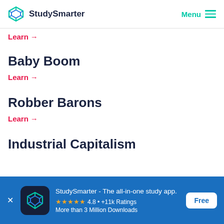StudySmarter  Menu
Learn →
Baby Boom
Learn →
Robber Barons
Learn →
Industrial Capitalism
[Figure (screenshot): App download banner: StudySmarter - The all-in-one study app. 4.8 +11k Ratings, More than 3 Million Downloads. Free button.]